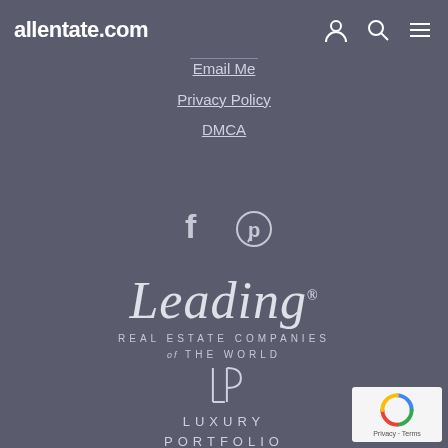allentate.com
Email Me
Privacy Policy
DMCA
[Figure (logo): Facebook and Pinterest social media icons in white]
[Figure (logo): Leading Real Estate Companies of the World logo — script 'Leading' in italic with 'REAL ESTATE COMPANIES OF THE WORLD' in small caps below]
[Figure (logo): Luxury Portfolio International logo — LP monogram with 'LUXURY PORTFOLIO INTERNATIONAL' text]
[Figure (other): reCAPTCHA badge with Privacy and Terms links]